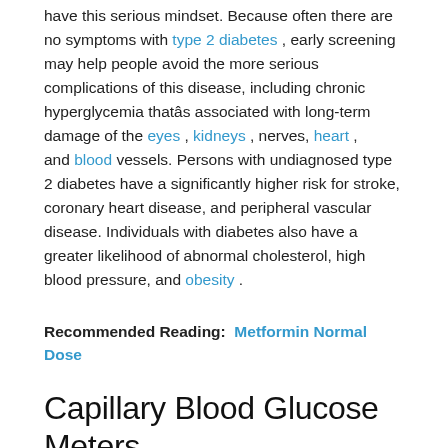have this serious mindset. Because often there are no symptoms with type 2 diabetes , early screening may help people avoid the more serious complications of this disease, including chronic hyperglycemia thatâs associated with long-term damage of the eyes , kidneys , nerves, heart , and blood vessels. Persons with undiagnosed type 2 diabetes have a significantly higher risk for stroke, coronary heart disease, and peripheral vascular disease. Individuals with diabetes also have a greater likelihood of abnormal cholesterol, high blood pressure, and obesity .
Recommended Reading: Metformin Normal Dose
Capillary Blood Glucose Meters
Capillary glucose measurement is a popular method for